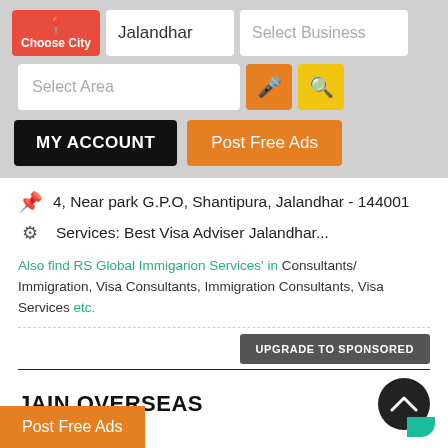[Figure (screenshot): Mobile app UI header with Choose City button, Jalandhar city input, Select Business input, Select Area input, microphone and search buttons, MY ACCOUNT and Post Free Ads buttons]
4, Near park G.P.O, Shantipura, Jalandhar - 144001
Services: Best Visa Adviser Jalandhar...
Also find RS Global Immigarion Services' in Consultants/ Immigration, Visa Consultants, Immigration Consultants, Visa Services etc.
UPGRADE TO SPONSORED
JAIN OVERSEAS
Post Free Ads